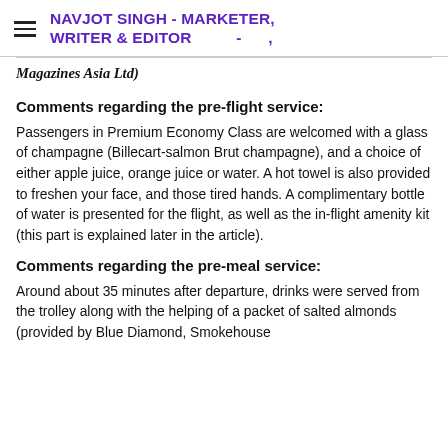NAVJOT SINGH - MARKETER, WRITER & EDITOR
Magazines Asia Ltd)
Comments regarding the pre-flight service:
Passengers in Premium Economy Class are welcomed with a glass of champagne (Billecart-salmon Brut champagne), and a choice of either apple juice, orange juice or water. A hot towel is also provided to freshen your face, and those tired hands. A complimentary bottle of water is presented for the flight, as well as the in-flight amenity kit (this part is explained later in the article).
Comments regarding the pre-meal service:
Around about 35 minutes after departure, drinks were served from the trolley along with the helping of a packet of salted almonds (provided by Blue Diamond, Smokehouse